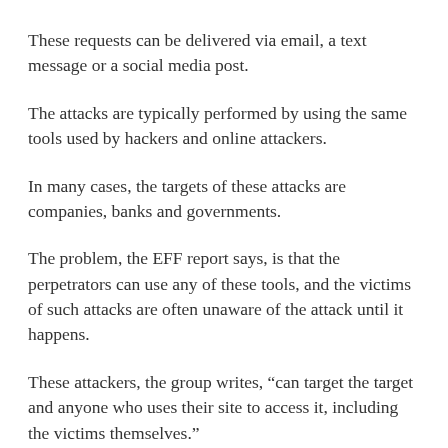These requests can be delivered via email, a text message or a social media post.
The attacks are typically performed by using the same tools used by hackers and online attackers.
In many cases, the targets of these attacks are companies, banks and governments.
The problem, the EFF report says, is that the perpetrators can use any of these tools, and the victims of such attacks are often unaware of the attack until it happens.
These attackers, the group writes, “can target the target and anyone who uses their site to access it, including the victims themselves.”